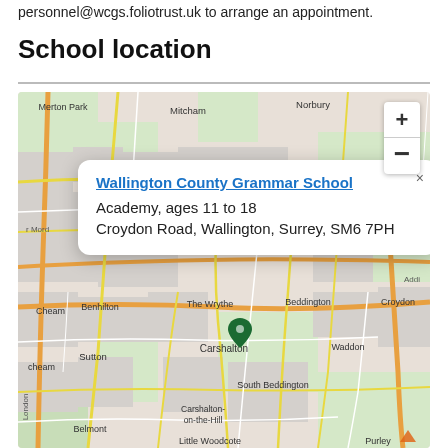personnel@wcgs.foliotrust.uk to arrange an appointment.
School location
[Figure (map): Interactive street map showing the location of Wallington County Grammar School near Carshalton, Surrey. A popup displays the school name, type (Academy, ages 11 to 18), and address (Croydon Road, Wallington, Surrey, SM6 7PH). Surrounding areas visible include Norbury, Merton Park, Mitcham, Cheam, Benhilton, The Wrythe, Beddington, Croydon, Carshalton, Waddon, Sutton, South Beddington, Carshalton-on-the-Hill, Belmont, Little Woodcote, and Purley. A green location pin marks the school site.]